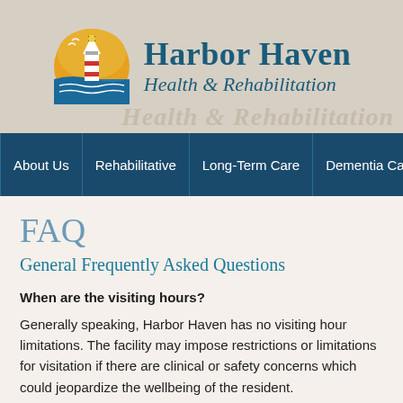[Figure (logo): Harbor Haven Health & Rehabilitation logo with lighthouse, sun, and waves]
Harbor Haven Health & Rehabilitation
About Us | Rehabilitative | Long-Term Care | Dementia Care
FAQ
General Frequently Asked Questions
When are the visiting hours?
Generally speaking, Harbor Haven has no visiting hour limitations. The facility may impose restrictions or limitations for visitation if there are clinical or safety concerns which could jeopardize the wellbeing of the resident.